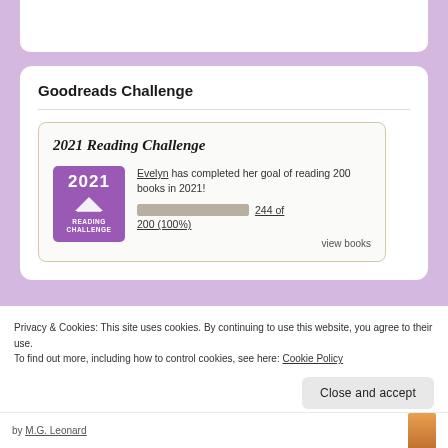Goodreads Challenge
[Figure (infographic): 2021 Reading Challenge badge widget showing Evelyn has completed her goal of reading 200 books in 2021, with a progress bar showing 244 of 200 (100%), and a view books link]
Privacy & Cookies: This site uses cookies. By continuing to use this website, you agree to their use.
To find out more, including how to control cookies, see here: Cookie Policy
Close and accept
by M.G. Leonard